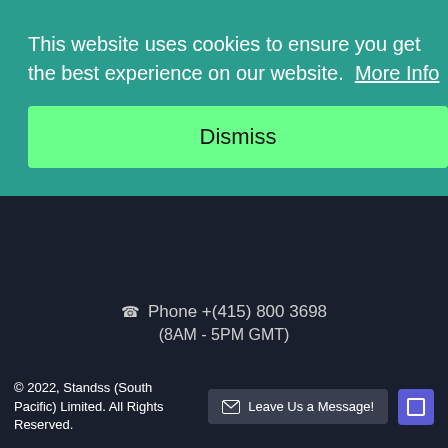This website uses cookies to ensure you get the best experience on our website.  More Info
Dismiss
Phone +(415) 800 3698
(8AM - 5PM GMT)
Have a question? Message us!
© 2022, Standss (South Pacific) Limited. All Rights Reserved.
Leave Us a Message!